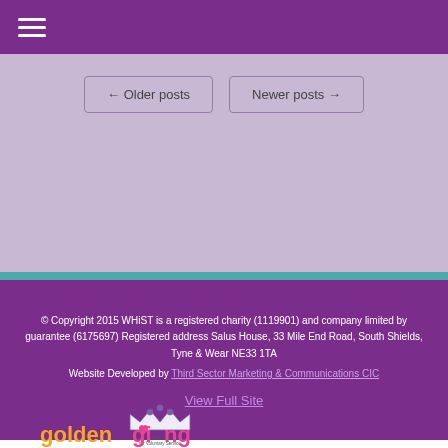☰ (hamburger menu)
← Older posts   Newer posts →
© Copyright 2015 WHiST is a registered charity (1119901) and company limited by guarantee (6175697) Registered address Salus House, 33 Mile End Road, South Shields, Tyne & Wear NE33 1TA
Website Developed by Third Sector Marketing & Communications CIC
View Full Site
[Figure (logo): The Queen's Award for Voluntary Service crown logo with text 'The Queen's Award for Voluntary Service – The MBE for volunteer groups']
[Figure (logo): goldengiving logo in orange and pink text]